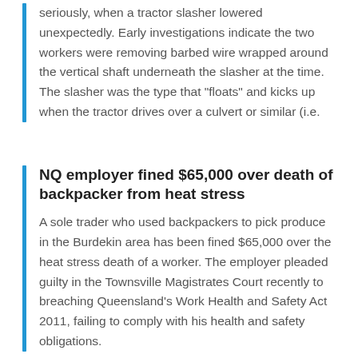seriously, when a tractor slasher lowered unexpectedly. Early investigations indicate the two workers were removing barbed wire wrapped around the vertical shaft underneath the slasher at the time. The slasher was the type that "floats" and kicks up when the tractor drives over a culvert or similar (i.e.
NQ employer fined $65,000 over death of backpacker from heat stress
A sole trader who used backpackers to pick produce in the Burdekin area has been fined $65,000 over the heat stress death of a worker. The employer pleaded guilty in the Townsville Magistrates Court recently to breaching Queensland's Work Health and Safety Act 2011, failing to comply with his health and safety obligations.